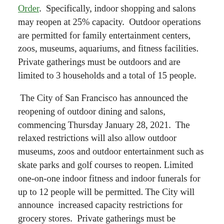Order. Specifically, indoor shopping and salons may reopen at 25% capacity. Outdoor operations are permitted for family entertainment centers, zoos, museums, aquariums, and fitness facilities. Private gatherings must be outdoors and are limited to 3 households and a total of 15 people.
The City of San Francisco has announced the reopening of outdoor dining and salons, commencing Thursday January 28, 2021. The relaxed restrictions will also allow outdoor museums, zoos and outdoor entertainment such as skate parks and golf courses to reopen. Limited one-on-one indoor fitness and indoor funerals for up to 12 people will be permitted. The City will announce increased capacity restrictions for grocery stores. Private gatherings must be